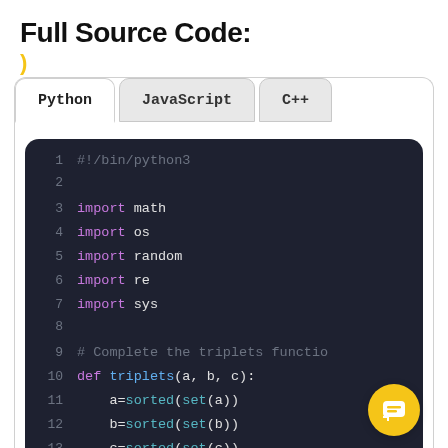Full Source Code:
[Figure (screenshot): Code editor screenshot showing Python code with tabs for Python, JavaScript, and C++. Code shows: #!/bin/python3, import math, import os, import random, import re, import sys, # Complete the triplets functio, def triplets(a, b, c):, a=sorted(set(a)), b=sorted(set(b)), c=sorted(set(c))]